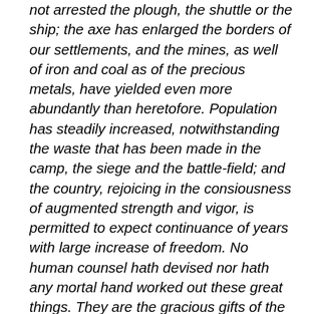not arrested the plough, the shuttle or the ship; the axe has enlarged the borders of our settlements, and the mines, as well of iron and coal as of the precious metals, have yielded even more abundantly than heretofore. Population has steadily increased, notwithstanding the waste that has been made in the camp, the siege and the battle-field; and the country, rejoicing in the consiousness of augmented strength and vigor, is permitted to expect continuance of years with large increase of freedom. No human counsel hath devised nor hath any mortal hand worked out these great things. They are the gracious gifts of the Most High God, who, while dealing with us in anger for our sins, hath nevertheless remembered mercy. It has seemed to me fit and proper that they should be solemnly, reverently and gratefully acknowledged as with one heart and one voice by the whole American People. I do therefore invite my fellow citizens in every part of the United States, and also those who are at sea and those who are sojourning in foreign lands, to set apart and observe the last Thursday of November next, as a day of Thanksgiving and Praise to our